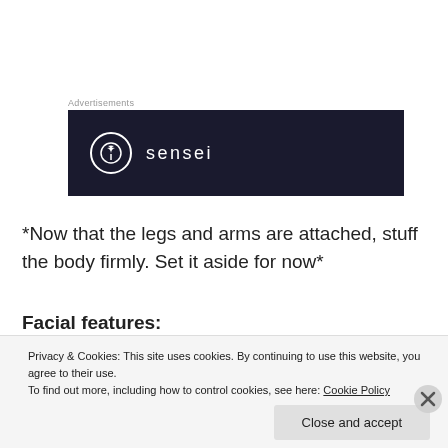Advertisements
[Figure (logo): Sensei logo — white circle with tree icon and 'sensei' text on dark navy background]
*Now that the legs and arms are attached, stuff the body firmly. Set it aside for now*
Facial features:
[Figure (photo): Broken/missing image placeholder]
Privacy & Cookies: This site uses cookies. By continuing to use this website, you agree to their use.
To find out more, including how to control cookies, see here: Cookie Policy
Close and accept